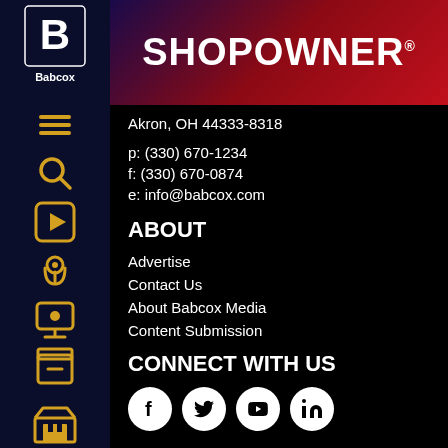[Figure (logo): ShopOwner magazine logo with gradient red-purple background, white text]
[Figure (logo): Babcox 'B' logo in sidebar, dark navy background]
Akron, OH 44333-8318
p: (330) 670-1234
f: (330) 670-0874
e: info@babcox.com
ABOUT
Advertise
Contact Us
About Babcox Media
Content Submission
CONNECT WITH US
[Figure (illustration): Social media icons: Facebook, Twitter, YouTube, LinkedIn — white circles with dark logos]
[Figure (logo): Babcox Media oval logo — blue oval with white italic Babcox text]